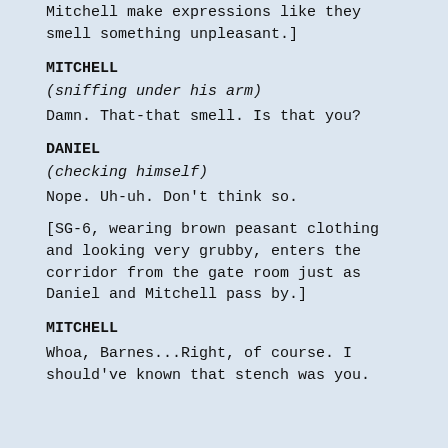Mitchell make expressions like they smell something unpleasant.]
MITCHELL
(sniffing under his arm)
Damn. That-that smell. Is that you?
DANIEL
(checking himself)
Nope. Uh-uh. Don't think so.
[SG-6, wearing brown peasant clothing and looking very grubby, enters the corridor from the gate room just as Daniel and Mitchell pass by.]
MITCHELL
Whoa, Barnes...Right, of course. I should've known that stench was you.